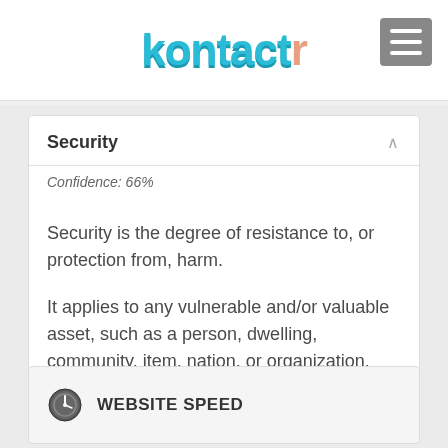kontactr
Security
Confidence: 66%
Security is the degree of resistance to, or protection from, harm.
It applies to any vulnerable and/or valuable asset, such as a person, dwelling, community, item, nation, or organization.
WEBSITE SPEED